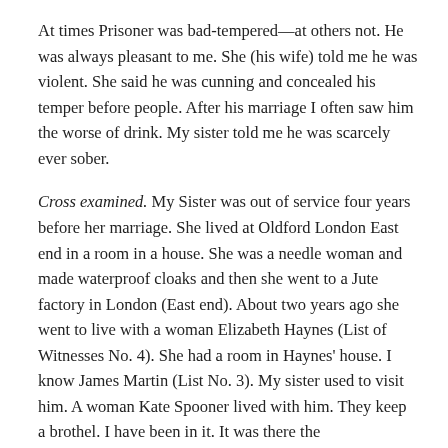At times Prisoner was bad-tempered—at others not. He was always pleasant to me. She (his wife) told me he was violent. She said he was cunning and concealed his temper before people. After his marriage I often saw him the worse of drink. My sister told me he was scarcely ever sober.
Cross examined. My Sister was out of service four years before her marriage. She lived at Oldford London East end in a room in a house. She was a needle woman and made waterproof cloaks and then she went to a Jute factory in London (East end). About two years ago she went to live with a woman Elizabeth Haynes (List of Witnesses No. 4). She had a room in Haynes' house. I know James Martin (List No. 3). My sister used to visit him. A woman Kate Spooner lived with him. They keep a brothel. I have been in it. It was there the